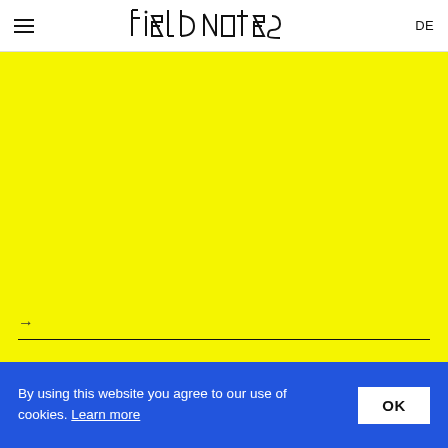≡  Field Notes  DE
[Figure (illustration): Large yellow background area with a horizontal divider line and a right arrow icon near the bottom left]
→
By using this website you agree to our use of cookies. Learn more
OK